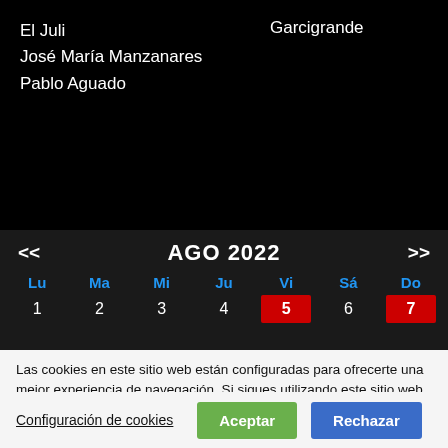El Juli
José María Manzanares
Pablo Aguado
Garcigrande
[Figure (screenshot): Calendar widget showing AGO 2022 with navigation arrows. Days of week: Lu Ma Mi Ju Vi Sá Do. First row of dates: 1 2 3 4 5(highlighted red) 6 7(highlighted red).]
Las cookies en este sitio web están configuradas para ofrecerte una mejor experiencia de navegación. Si sigues utilizando este sitio web sin cambiar tus opciones o haces clic en "Aceptar" estarás consintiendo las cookies de este sitio..
Configuración de cookies
Aceptar
Rechazar